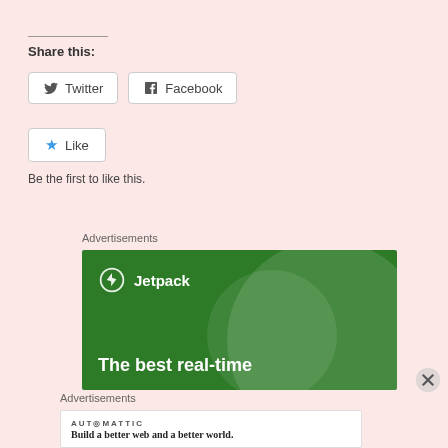Share this:
Twitter   Facebook
Like
Be the first to like this.
Advertisements
[Figure (advertisement): Jetpack advertisement banner on green background with large circle and text 'The best real-time']
Advertisements
[Figure (advertisement): Automattic advertisement: 'AUTOMATTIC — Build a better web and a better world.']